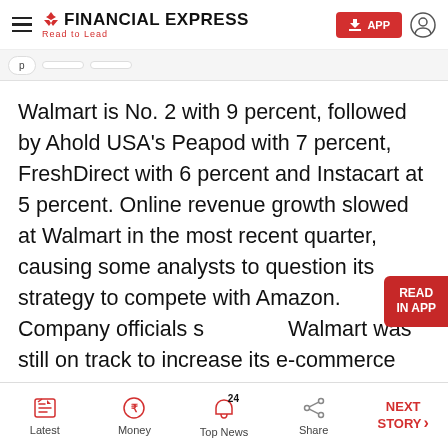Financial Express — Read to Lead
Walmart is No. 2 with 9 percent, followed by Ahold USA's Peapod with 7 percent, FreshDirect with 6 percent and Instacart at 5 percent. Online revenue growth slowed at Walmart in the most recent quarter, causing some analysts to question its strategy to compete with Amazon. Company officials said Walmart was still on track to increase its e-commerce sales by 40 percent this year.
Latest | Money | Top News (24) | Share | NEXT STORY